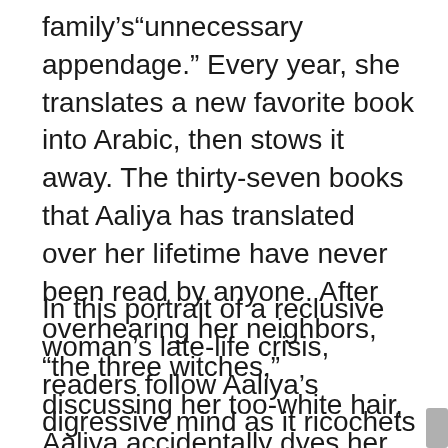family's“unningecessary appendage.” Every year, she translates a new favorite book into Arabic, then stows it away. The thirty-seven books that Aaliya has translated over her lifetime have never been read by anyone. After overhearing her neighbors, “the three witches,” discussing her too-white hair, Aaliya accidentally dyes her hair too blue.
In this portrait of a reclusive woman’s late-life crisis, readers follow Aaliya’s digressive mind as it ricochets across visions of past and present Beirut. Colorful musings on literature, philosophy, and art are invaded by memories of the Lebanese Civil War and